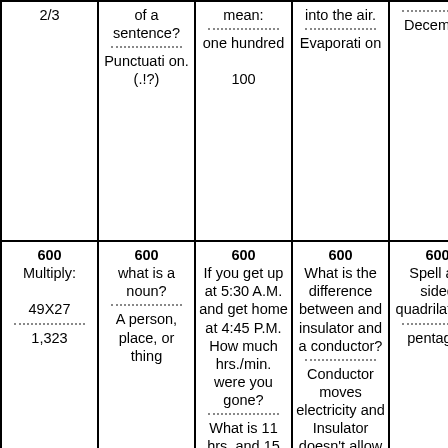| 2/3 | of a sentence?
...
Punctuation. (.!?) | mean:
...
one hundred
100 | into the air.
...
Evaporation | ...
December |
| 600
Multiply:
49X27
...
1,323 | 600
what is a noun?
...
A person, place, or thing | 600
If you get up at 5:30 A.M. and get home at 4:45 P.M. How much hrs./min. were you gone?
...
What is 11 hrs. and 15 minutes. | 600
What is the difference between and insulator and a conductor?
...
Conductor moves electricity and Insulator doesn't allow electricity | 600
Spell a 5 sided quadrilateral
...
pentagon |